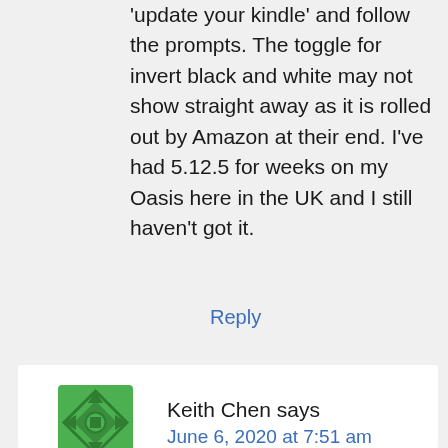'update your kindle' and follow the prompts.
The toggle for invert black and white may not show straight away as it is rolled out by Amazon at their end. I've had 5.12.5 for weeks on my Oasis here in the UK and I still haven't got it.
Reply
Keith Chen says
June 6, 2020 at 7:51 am
Hi Greig,
Thanks for your help and reply.